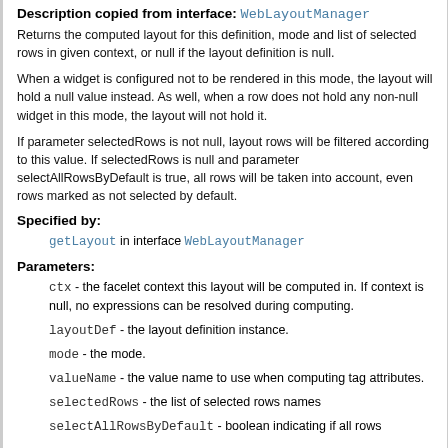Description copied from interface: WebLayoutManager
Returns the computed layout for this definition, mode and list of selected rows in given context, or null if the layout definition is null.
When a widget is configured not to be rendered in this mode, the layout will hold a null value instead. As well, when a row does not hold any non-null widget in this mode, the layout will not hold it.
If parameter selectedRows is not null, layout rows will be filtered according to this value. If selectedRows is null and parameter selectAllRowsByDefault is true, all rows will be taken into account, even rows marked as not selected by default.
Specified by:
getLayout in interface WebLayoutManager
Parameters:
ctx - the facelet context this layout will be computed in. If context is null, no expressions can be resolved during computing.
layoutDef - the layout definition instance.
mode - the mode.
valueName - the value name to use when computing tag attributes.
selectedRows - the list of selected rows names
selectAllRowsByDefault - boolean indicating if all rows